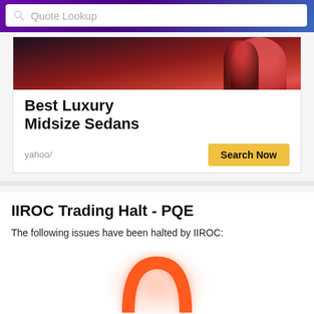Quote Lookup
[Figure (screenshot): Yahoo Finance advertisement for Best Luxury Midsize Sedans with a photo of people in background, yahoo! branding, and a yellow Search Now button]
IIROC Trading Halt - PQE
The following issues have been halted by IIROC:
[Figure (logo): Orange horseshoe/arch shaped logo on white background]